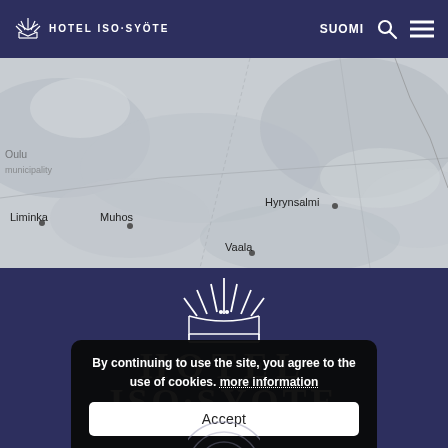HOTEL ISO·SYÖTE | SUOMI
[Figure (map): Greyscale map of Finland region showing Oulu area with city labels: Liminka, Muhos, Puolanka, Hyrynsalmi, Vaala and surrounding terrain]
[Figure (logo): Hotel Iso-Syöte large white crown logo icon with text HOTEL ISO·SYÖTE and subtitle ARCTIC HILLTOP BOUTIQUE HOTEL on dark navy background]
By continuing to use the site, you agree to the use of cookies. more information
Accept